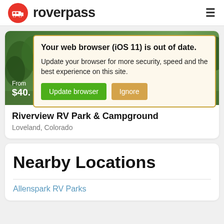roverpass
[Figure (screenshot): Browser update warning popup overlay on roverpass campground listing page]
Your web browser (iOS 11) is out of date. Update your browser for more security, speed and the best experience on this site.
Update browser | Ignore
From $40.
Riverview RV Park & Campground
Loveland, Colorado
Nearby Locations
Allenspark RV Parks